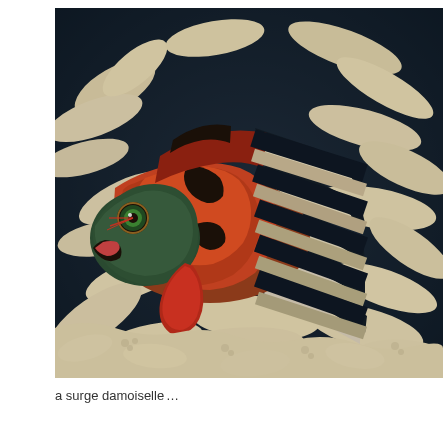[Figure (photo): Underwater photograph of a surge damoiselle fish swimming among white coral. The fish has a colorful appearance with a reddish-orange front, green eye, and black-and-white striped body. The background shows branching white coral against dark water.]
a surge damoiselleâ€¦